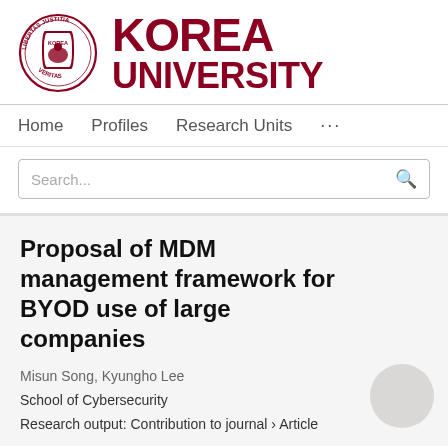[Figure (logo): Korea University logo: circular seal with LIBERTAS JUSTITIA VERITAS text and shield emblem, plus KOREA UNIVERSITY wordmark in dark red]
Home   Profiles   Research Units   ...
Search...
Proposal of MDM management framework for BYOD use of large companies
Misun Song, Kyungho Lee
School of Cybersecurity
Research output: Contribution to journal › Article